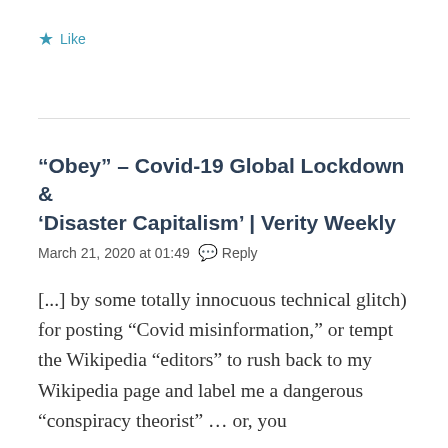Like
“Obey” – Covid-19 Global Lockdown & ‘Disaster Capitalism’ | Verity Weekly
March 21, 2020 at 01:49   💬 Reply
[...] by some totally innocuous technical glitch) for posting “Covid misinformation,” or tempt the Wikipedia “editors” to rush back to my Wikipedia page and label me a dangerous “conspiracy theorist” … or, you